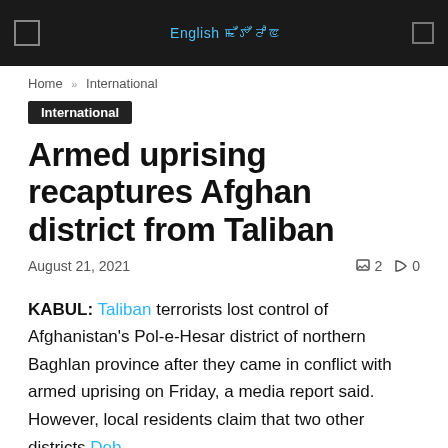English ꯃꯩꯇꯩꯂꯣꯟ
Home » International
International
Armed uprising recaptures Afghan district from Taliban
August 21, 2021  2  0
KABUL: Taliban terrorists lost control of Afghanistan's Pol-e-Hesar district of northern Baghlan province after they came in conflict with armed uprising on Friday, a media report said. However, local residents claim that two other districts Deb